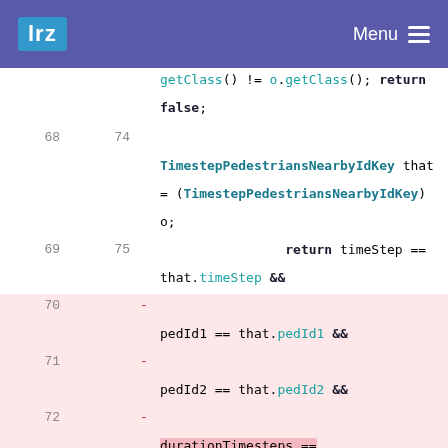lrz  Menu
[Figure (screenshot): Code diff view showing Java equals() method changes in a TimestepPedestriansNearbyIdKey class. Lines 68-75 are unchanged context, showing getClass() comparison and TimestepPedestriansNearbyIdKey cast. Lines 70-72 (old, removed) show individual &&-chained comparisons for pedId1, pedId2, and durationTimesteps. Lines 76-77 (new, added) show replacement with a compound ((pedId1 == that.pedId1 && pedId2 == that.pedId2) || (pedId2 == that.pedId1 && ...)) expression.]